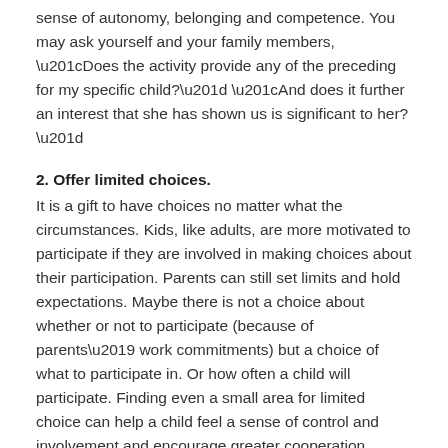sense of autonomy, belonging and competence. You may ask yourself and your family members, “Does the activity provide any of the preceding for my specific child?” “And does it further an interest that she has shown us is significant to her?”
2. Offer limited choices.
It is a gift to have choices no matter what the circumstances. Kids, like adults, are more motivated to participate if they are involved in making choices about their participation. Parents can still set limits and hold expectations. Maybe there is not a choice about whether or not to participate (because of parents’ work commitments) but a choice of what to participate in. Or how often a child will participate. Finding even a small area for limited choice can help a child feel a sense of control and involvement and encourage greater cooperation.